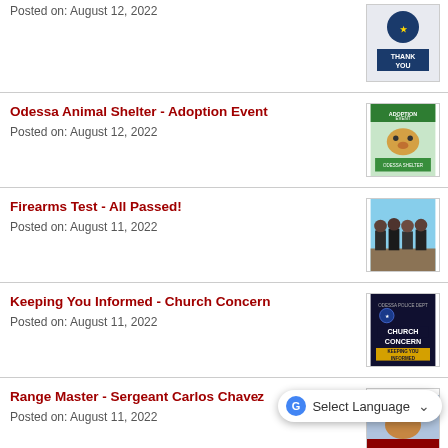Posted on: August 12, 2022
[Figure (photo): Thank You badge/logo image]
Odessa Animal Shelter - Adoption Event
Posted on: August 12, 2022
[Figure (photo): Adoption event poster with a dog]
Firearms Test - All Passed!
Posted on: August 11, 2022
[Figure (photo): Group of people at firearms test outdoors]
Keeping You Informed - Church Concern
Posted on: August 11, 2022
[Figure (photo): Church Concern - Keeping You Informed poster]
Range Master - Sergeant Carlos Chavez
Posted on: August 11, 2022
[Figure (photo): Person in red shirt - partial image]